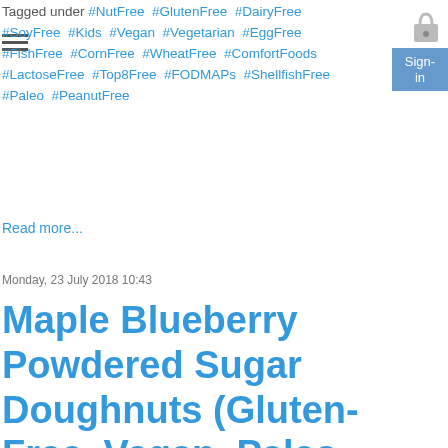Tagged under #NutFree #GlutenFree #DairyFree #SoyFree #Kids #Vegan #Vegetarian #EggFree #FishFree #CornFree #WheatFree #ComfortFoods #LactoseFree #Top8Free #FODMAPs #ShellfishFree #Paleo #PeanutFree
Read more...
Monday, 23 July 2018 10:43
Maple Blueberry Powdered Sugar Doughnuts (Gluten-Free, Vegan, Paleo, Allergy-Free)